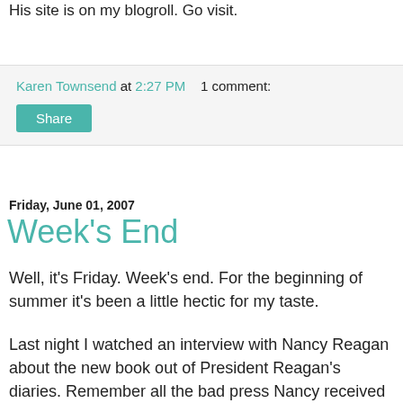His site is on my blogroll. Go visit.
Karen Townsend at 2:27 PM   1 comment:
Share
Friday, June 01, 2007
Week's End
Well, it's Friday. Week's end. For the beginning of summer it's been a little hectic for my taste.
Last night I watched an interview with Nancy Reagan about the new book out of President Reagan's diaries. Remember all the bad press Nancy received when she was First Lady? Funny how the passage of time shows a bit more of the person. Her two children didn't turn out to be much to talk about but her marriage to the President was something to admire. I love that he is now shown to be the prolific writer that he was, after all those calling him dumb, a B actor, and all the nasty slings in the press. You would have thought he